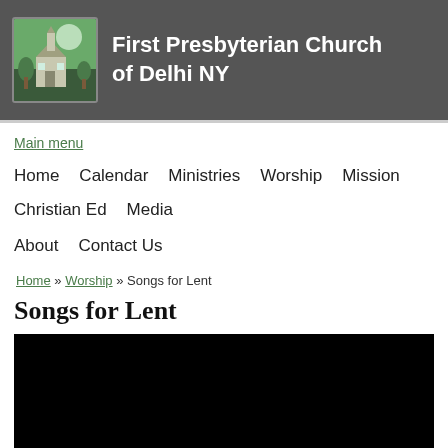First Presbyterian Church of Delhi NY
Main menu
Home   Calendar   Ministries   Worship   Mission   Christian Ed   Media   About   Contact Us
Home » Worship » Songs for Lent
Songs for Lent
[Figure (screenshot): Black video thumbnail with white text reading 'Songs for Lent']